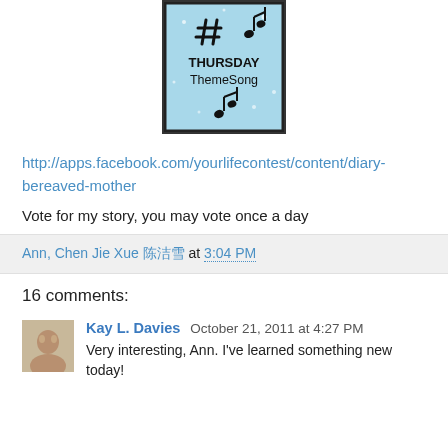[Figure (illustration): Thursday ThemeSong badge: light blue background with hashtag symbol, music notes, and text 'THURSDAY ThemeSong' in black, framed by a black border]
http://apps.facebook.com/yourlifecontest/content/diary-bereaved-mother
Vote for my story, you may vote once a day
Ann, Chen Jie Xue 陈洁雪 at 3:04 PM
16 comments:
Kay L. Davies  October 21, 2011 at 4:27 PM
Very interesting, Ann. I've learned something new today!